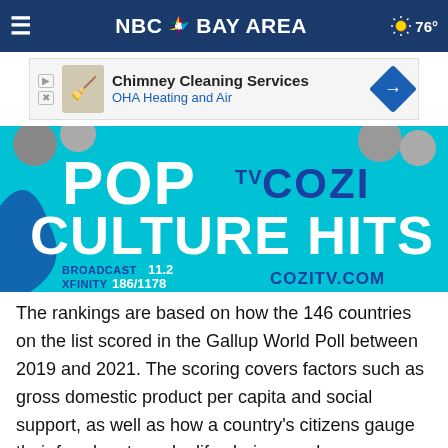NBC Bay Area — 76°
[Figure (illustration): Advertisement banner for Chimney Cleaning Services by OHA Heating and Air]
[Figure (illustration): Cozi TV promotional image: POP CULTURE HITS — BROADCAST 11.2, XFINITY 186/1178, COZITV.COM]
The rankings are based on how the 146 countries on the list scored in the Gallup World Poll between 2019 and 2021. The scoring covers factors such as gross domestic product per capita and social support, as well as how a country's citizens gauge their freedom to make life choices and